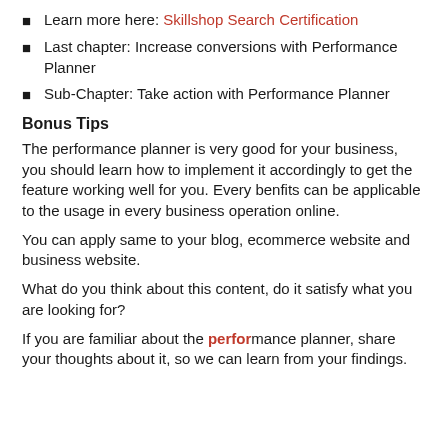Learn more here: Skillshop Search Certification
Last chapter: Increase conversions with Performance Planner
Sub-Chapter: Take action with Performance Planner
Bonus Tips
The performance planner is very good for your business, you should learn how to implement it accordingly to get the feature working well for you. Every benfits can be applicable to the usage in every business operation online.
You can apply same to your blog, ecommerce website and business website.
What do you think about this content, do it satisfy what you are looking for?
If you are familiar about the performance planner, share your thoughts about it, so we can learn from your findings.